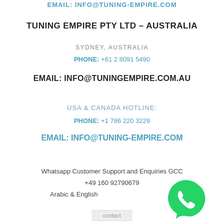EMAIL: INFO@TUNING-EMPIRE.COM
TUNING EMPIRE PTY LTD – AUSTRALIA
SYDNEY, AUSTRALIA
PHONE: +61 2 8091 5490
EMAIL: INFO@TUNINGEMPIRE.COM.AU
USA & CANADA HOTLINE:
PHONE: +1 786 220 3229
EMAIL: INFO@TUNING-EMPIRE.COM
Whatsapp Customer Support and Enquiries GCC
+49 160 92790679
Arabic & English
[Figure (logo): WhatsApp green logo with phone handset icon]
[Figure (other): contact image placeholder]